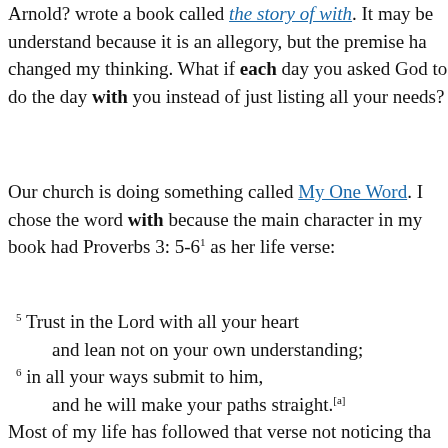Arnold? wrote a book called the story of with. It may be understand because it is an allegory, but the premise ha changed my thinking. What if each day you asked God to do the day with you instead of just listing all your needs?
Our church is doing something called My One Word. I chose the word with because the main character in my book had Proverbs 3: 5-6¹ as her life verse:
5 Trust in the Lord with all your heart
    and lean not on your own understanding;
6 in all your ways submit to him,
    and he will make your paths straight.[a]
Most of my life has followed that verse not noticing tha always make sense. That is why we need to do life with taken me places I never thought I would or even could g